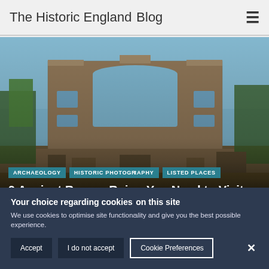The Historic England Blog
[Figure (photo): Roman ruins with stone walls and arched windows against a blue sky with trees in the background]
ARCHAEOLOGY
HISTORIC PHOTOGRAPHY
LISTED PLACES
9 Ancient Roman Ruins You Need to Visit
BY HISTORIC ENGLAND  11 SEPTEMBER 2020
COMMENTS 17
Your choice regarding cookies on this site
We use cookies to optimise site functionality and give you the best possible experience.
Accept  I do not accept  Cookie Preferences